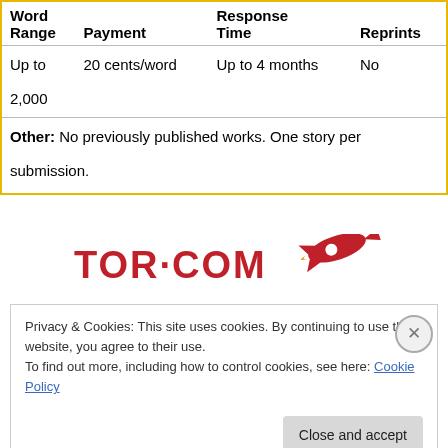| Word
Range | Payment | Response
Time | Reprints |
| --- | --- | --- | --- |
| Up to 2,000 | 20 cents/word | Up to 4 months | No |
| Other: No previously published works. One story per submission. |  |  |  |
[Figure (logo): TOR·COM logo with red rocket illustration]
Privacy & Cookies: This site uses cookies. By continuing to use this website, you agree to their use.
To find out more, including how to control cookies, see here: Cookie Policy